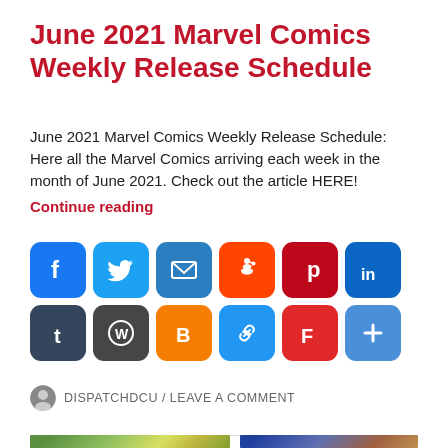June 2021 Marvel Comics Weekly Release Schedule
June 2021 Marvel Comics Weekly Release Schedule: Here all the Marvel Comics arriving each week in the month of June 2021. Check out the article HERE!
Continue reading
[Figure (infographic): Row of social media sharing icon buttons: Facebook (blue), Twitter (light blue), Email (blue), Reddit (orange), Pinterest (dark red), LinkedIn (blue), Tumblr (dark blue-gray), WordPress (dark gray), Blogger (orange), Copy Link (blue), Flipboard (red), More/Plus (gray-blue)]
DISPATCHDCU / LEAVE A COMMENT
[Figure (photo): Two comic book cover images partially visible at the bottom: left shows a green Hulk-like character, right shows a woman with red costume elements]